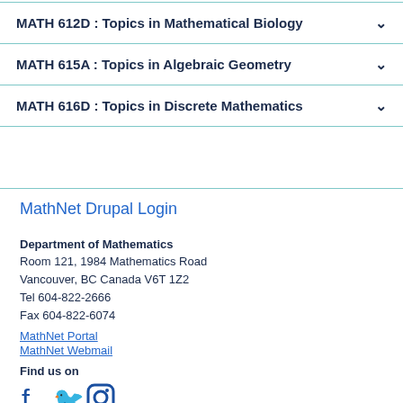MATH 612D : Topics in Mathematical Biology
MATH 615A : Topics in Algebraic Geometry
MATH 616D : Topics in Discrete Mathematics
MathNet Drupal Login
Department of Mathematics
Room 121, 1984 Mathematics Road
Vancouver, BC Canada V6T 1Z2
Tel 604-822-2666
Fax 604-822-6074
MathNet Portal
MathNet Webmail
Find us on